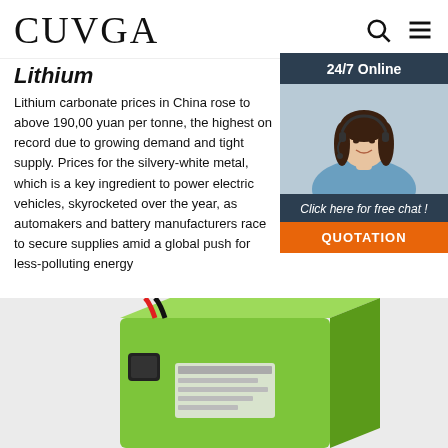CUVGA
Lithium
Lithium carbonate prices in China rose to above 190,00 yuan per tonne, the highest on record due to growing demand and tight supply. Prices for the silvery-white metal, which is a key ingredient to power electric vehicles, skyrocketed over the year, as automakers and battery manufacturers race to secure supplies amid a global push for less-polluting energy
Get Price
[Figure (other): 24/7 online customer service chat widget with photo of woman wearing headset, Click here for free chat!, QUOTATION button]
[Figure (photo): Green lithium battery pack with red and black wires/connector]